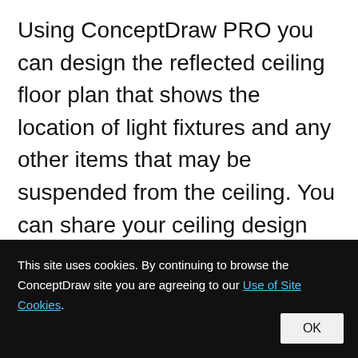Using ConceptDraw PRO you can design the reflected ceiling floor plan that shows the location of light fixtures and any other items that may be suspended from the ceiling. You can share your ceiling design ideas by saving drawings as graphics files, or printing them.
Interior Design Piping Plan - Design Elements
This site uses cookies. By continuing to browse the ConceptDraw site you are agreeing to our Use of Site Cookies. OK